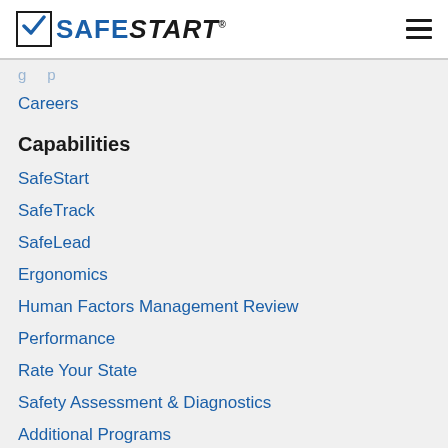SafeStart
Careers
Capabilities
SafeStart
SafeTrack
SafeLead
Ergonomics
Human Factors Management Review
Performance
Rate Your State
Safety Assessment & Diagnostics
Additional Programs
Resources
Articles